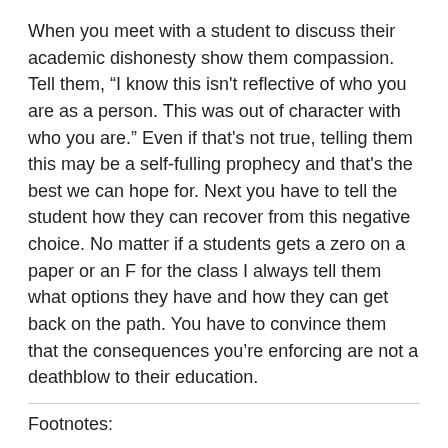When you meet with a student to discuss their academic dishonesty show them compassion. Tell them, “I know this isn't reflective of who you are as a person. This was out of character with who you are.” Even if that's not true, telling them this may be a self-fulling prophecy and that's the best we can hope for. Next you have to tell the student how they can recover from this negative choice. No matter if a students gets a zero on a paper or an F for the class I always tell them what options they have and how they can get back on the path. You have to convince them that the consequences you’re enforcing are not a deathblow to their education.
Footnotes:
1. This is as effective as parents telling their kids to come talk to them if one of their friends wants them to drink, use drugs, or have sex. However, I still think it’s important to show you are available to them.